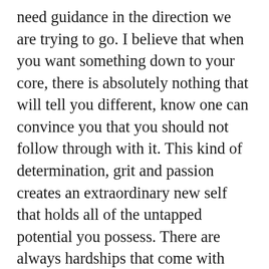need guidance in the direction we are trying to go. I believe that when you want something down to your core, there is absolutely nothing that will tell you different, know one can convince you that you should not follow through with it. This kind of determination, grit and passion creates an extraordinary new self that holds all of the untapped potential you possess. There are always hardships that come with new experiences and beginnings, within those hardships that you may face are the solutions to move forward and to learn. Be curious and ask questions there is always room to improve every craft and talent you may have. I am a huge believer in the work you are willing to put in everyday and every-night, the results will eventually show. Be quick to listen and slow to...